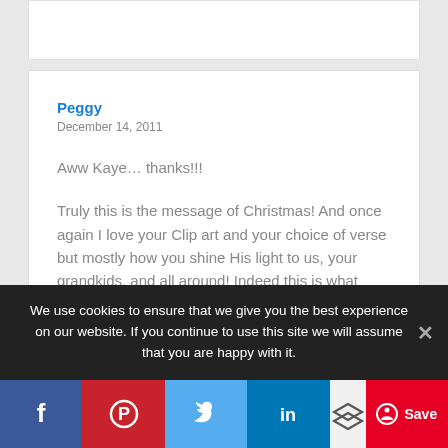Peggy
December 14, 2011
Aww Kaye... thanks!!!
Truly this is the message of Christmas! And once again I love your Clip art and your choice of verse but mostly how you shine His light to us, your grandkids, and all around! Indeed this is what spiritual legacy is all about "being
We use cookies to ensure that we give you the best experience on our website. If you continue to use this site we will assume that you are happy with it.
Facebook, Pinterest, Twitter, LinkedIn, Share, Save